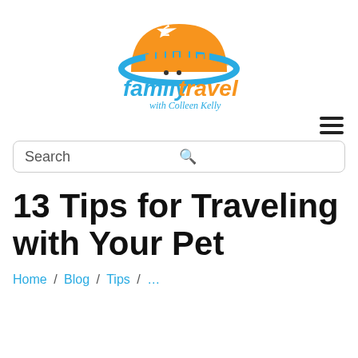[Figure (logo): Family Travel with Colleen Kelly logo - orange and blue circular emblem with airplane, city skyline, car, with 'family travel with Colleen Kelly' text below]
13 Tips for Traveling with Your Pet
Home / Blog / Tips / ...